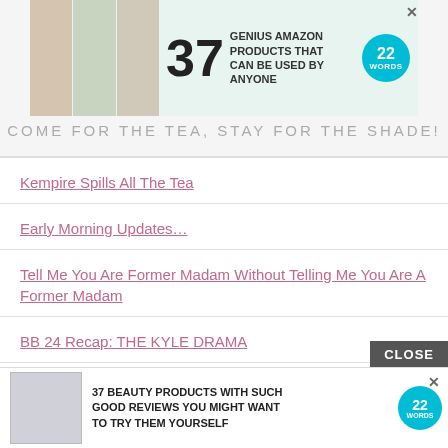[Figure (infographic): Advertisement banner: 37 Genius Amazon Products That Can Be Used By Anyone, with 22 Words badge and product images]
COME FOR THE TEA, STAY FOR THE SHADE!
Kempire Spills All The Tea
Early Morning Updates…
Tell Me You Are Former Madam Without Telling Me You Are A Former Madam
BB 24 Recap: THE KYLE DRAMA
RHOBH Recap: Altitude Adjustment
Below Deck Down Under Recap: Squid Games
Below
[Figure (infographic): Bottom advertisement: 37 Beauty Products With Such Good Reviews You Might Want To Try Them Yourself, with 22 Words badge and product image. CLOSE button overlay.]